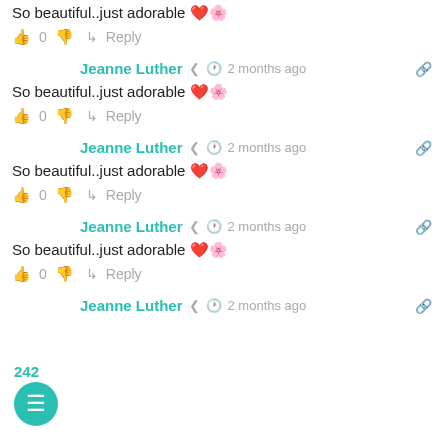So beautiful..just adorable ❤️🌸
👍 0 👎 ↳ Reply
Jeanne Luther  < 🕐 2 months ago 🔗
So beautiful..just adorable ❤️🌸
👍 0 👎 ↳ Reply
Jeanne Luther  < 🕐 2 months ago 🔗
So beautiful..just adorable ❤️🌸
👍 0 👎 ↳ Reply
Jeanne Luther  < 🕐 2 months ago 🔗
So beautiful..just adorable ❤️🌸
👍 0 👎 ↳ Reply
Jeanne Luther  < 🕐 2 months ago 🔗